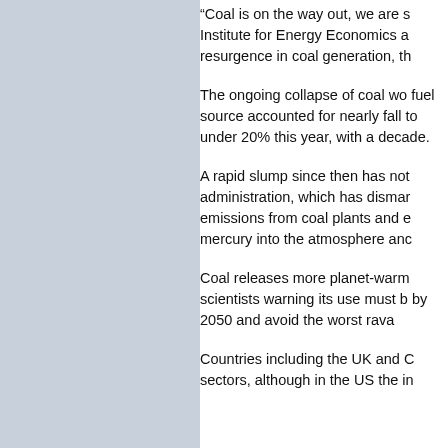[Figure (other): Light blue-grey panel on the left side of the page]
“Coal is on the way out, we are s… Institute for Energy Economics a… resurgence in coal generation, th…
The ongoing collapse of coal wo… fuel source accounted for nearly… fall to under 20% this year, with a… decade.
A rapid slump since then has not… administration, which has dismar… emissions from coal plants and e… mercury into the atmosphere anc…
Coal releases more planet-warm… scientists warning its use must b… by 2050 and avoid the worst rava…
Countries including the UK and C… sectors, although in the US the in…